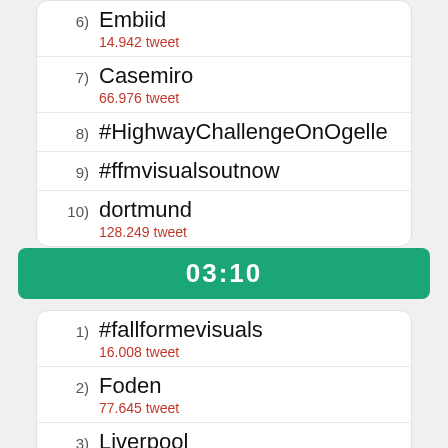6) Embiid
14.942 tweet
7) Casemiro
66.976 tweet
8) #HighwayChallengeOnOgelle
9) #ffmvisualsoutnow
10) dortmund
128.249 tweet
03:10
1) #fallformevisuals
16.008 tweet
2) Foden
77.645 tweet
3) Liverpool
322.637 tweet